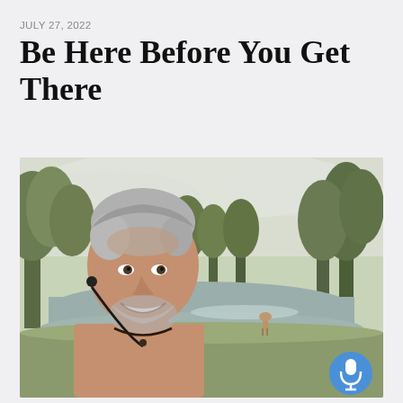JULY 27, 2022
Be Here Before You Get There
[Figure (photo): Selfie of a middle-aged man with grey hair and a beard, wearing earbuds and a necklace, smiling outdoors near a river or pond with green trees in the background. A blue microphone button overlay is visible in the bottom-right corner.]